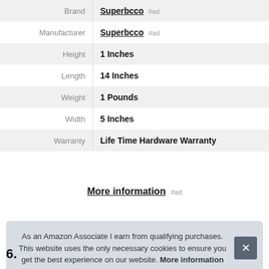| Attribute | Value |
| --- | --- |
| Brand | Superbcco #ad |
| Manufacturer | Superbcco #ad |
| Height | 1 Inches |
| Length | 14 Inches |
| Weight | 1 Pounds |
| Width | 5 Inches |
| Warranty | Life Time Hardware Warranty |
More information #ad
As an Amazon Associate I earn from qualifying purchases. This website uses the only necessary cookies to ensure you get the best experience on our website. More information
6.